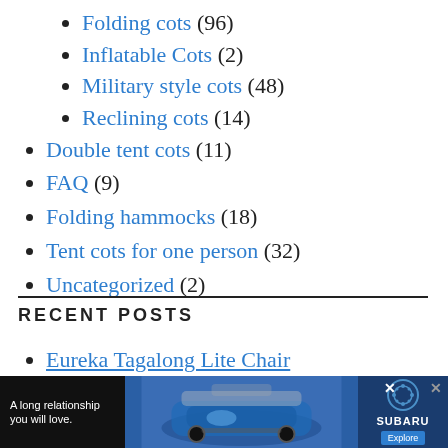Folding cots (96)
Inflatable Cots (2)
Military style cots (48)
Reclining cots (14)
Double tent cots (11)
FAQ (9)
Folding hammocks (18)
Tent cots for one person (32)
Uncategorized (2)
RECENT POSTS
Eureka Tagalong Lite Chair
[Figure (other): Advertisement banner for Subaru showing a car with text 'A long relationship you will love.' and an Explore button]